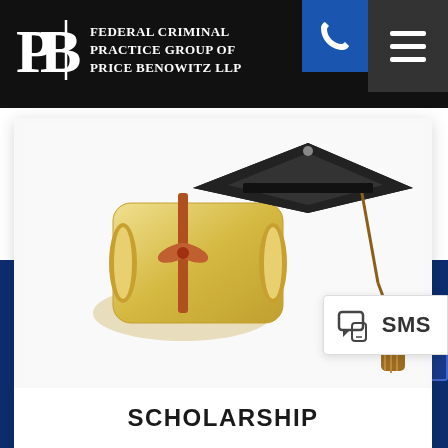Federal Criminal Practice Group of Price Benowitz LLP
[Figure (illustration): Graduation cap and diploma scroll illustration on white background with text SCHOLARSHIP below]
[Figure (screenshot): SMS chat bubble icon with SMS label popup overlay on right side]
SCHOLARSHIP
Contact Our White-Collar Criminal Defense Attorneys
(888) 299-5588